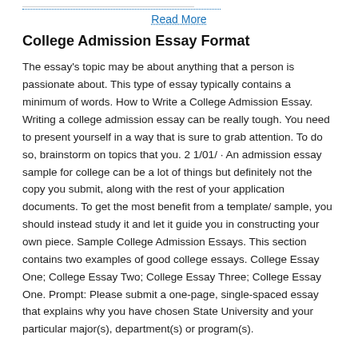Read More
College Admission Essay Format
The essay's topic may be about anything that a person is passionate about. This type of essay typically contains a minimum of words. How to Write a College Admission Essay. Writing a college admission essay can be really tough. You need to present yourself in a way that is sure to grab attention. To do so, brainstorm on topics that you. 21/01/ · An admission essay sample for college can be a lot of things but definitely not the copy you submit, along with the rest of your application documents. To get the most benefit from a template/ sample, you should instead study it and let it guide you in constructing your own piece. Sample College Admission Essays. This section contains two examples of good college essays. College Essay One; College Essay Two; College Essay Three; College Essay One. Prompt: Please submit a one-page, single-spaced essay that explains why you have chosen State University and your particular major(s), department(s) or program(s).